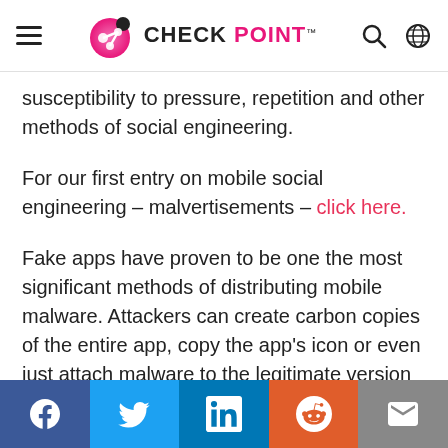CHECK POINT
susceptibility to pressure, repetition and other methods of social engineering.
For our first entry on mobile social engineering – malvertisements – click here.
Fake apps have proven to be one the most significant methods of distributing mobile malware. Attackers can create carbon copies of the entire app, copy the app's icon or even just attach malware to the legitimate version of the app. Either way, the apps appear to be legitimate, with relevant screenshots, descriptions, user reviews, and
Facebook Twitter LinkedIn Reddit Email